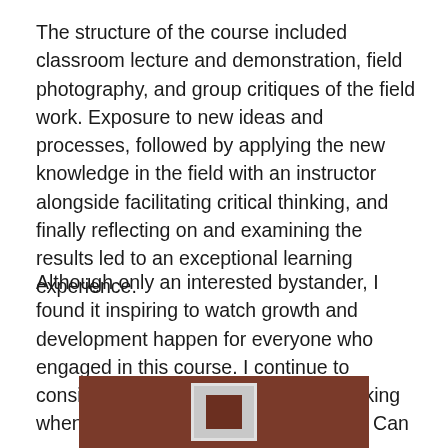The structure of the course included classroom lecture and demonstration, field photography, and group critiques of the field work. Exposure to new ideas and processes, followed by applying the new knowledge in the field with an instructor alongside facilitating critical thinking, and finally reflecting on and examining the results led to an exceptional learning experience.
Although only an interested bystander, I found it inspiring to watch growth and development happen for everyone who engaged in this course. I continue to consider how to best apply critical thinking when I facilitate learning opportunities. Can you recall an experience where critical thinking made a significant impact?
[Figure (photo): Partial view of a framed photograph or artwork mounted on a brown wooden wall, showing a white frame with a dark interior image.]